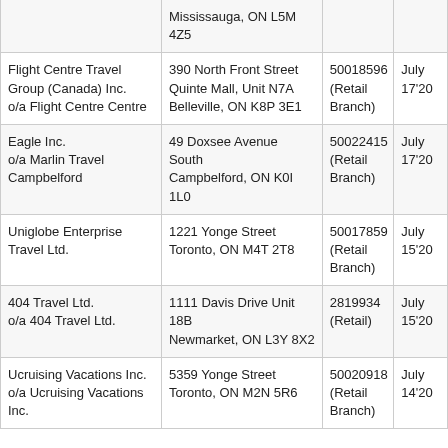|  | Mississauga, ON L5M 4Z5 |  |  |
| Flight Centre Travel Group (Canada) Inc.
o/a Flight Centre Centre | 390 North Front Street Quinte Mall, Unit N7A
Belleville, ON K8P 3E1 | 50018596 (Retail Branch) | July 17'20 |
| Eagle Inc.
o/a Marlin Travel Campbelford | 49 Doxsee Avenue South
Campbelford, ON K0I 1L0 | 50022415 (Retail Branch) | July 17'20 |
| Uniglobe Enterprise Travel Ltd. | 1221 Yonge Street
Toronto, ON M4T 2T8 | 50017859 (Retail Branch) | July 15'20 |
| 404 Travel Ltd.
o/a 404 Travel Ltd. | 1111 Davis Drive Unit 18B
Newmarket, ON L3Y 8X2 | 2819934 (Retail) | July 15'20 |
| Ucruising Vacations Inc.
o/a Ucruising Vacations Inc. | 5359 Yonge Street
Toronto, ON M2N 5R6 | 50020918 (Retail Branch) | July 14'20 |